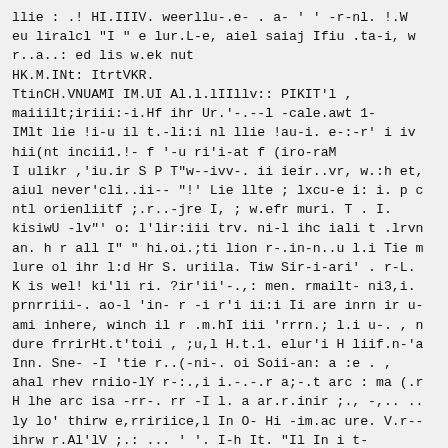llie : .! HI.IIIV. weerllu-.e- . a- ' ' -r-nl. !.W
eu liralcl "I " e lur.L-e, aiel saiaj Ifiu .ta-i, w
r..a..: ed lis w.ek nut
HK.M.INt: ItrtVKR.
TtinCH.VNUAMI IM.UI Al.l.lIIllv:: PIKIT'l ,
maiiilt;iriii:-i.Hf ihr Ur.'-.--l -cale.awt 1-
IMlt lie !i-u il t.-li:i nl llie !au-i. e-:-r' i iv
hii(nt incii1.!- f '-u ri'i-at f (iro-raM
I ulikr ,'iu.ir S P T"w--ivv-. ii ieir..vr, w.:h et,
aiul never'cli..ii-- "!' Lie llte ; lxcu-e i: i. p c
ntl orienliitf ;.r..-jre I, ; w.efr muri. T . I.
kisiwU -lv"' o: l'lir:iii trv. ni-l ihc iali t .lrvn
an. h r all I" " hi.oi.;ti lion r-.in-n..u l.i Tie m
lure ol ihr l:d Hr S. uriila. Tiw Sir-i-ari' . r-L.
K is wel! ki'li ri. ?ir'ii'-.,: men. rmailt- ni3,i.
prnrriii-. ao-l 'in- r -i r'i ii:i Ii are inrn ir u-
ami inhere, winch il r .m.hI iii 'rrrn.; l.i u-. , n
dure frrirHt.t'toii , ;u,l H.t.1. elur'i H liif.n-'a
Inn. Sne- -I 'tie r..(-ni-. oi Soii-an: a :e . ,
ahal rhev rniio-lY r-:.,i i.-.-.r a;-.t arc : ma (.r
H lhe arc isa -rr-. rr -I l. a ar.r.inir ;., -,.. ..
ly lo' thirw e,rririice,l In O- Hi -im.ac ure. V.r--
ihrw r.Al'lV ;.: ... ' '. I-h It. "Il In i t-
li.iUii.Hi, u..!. .- Iir.,i...r. 'Ii- v.-ry r-..i.ii